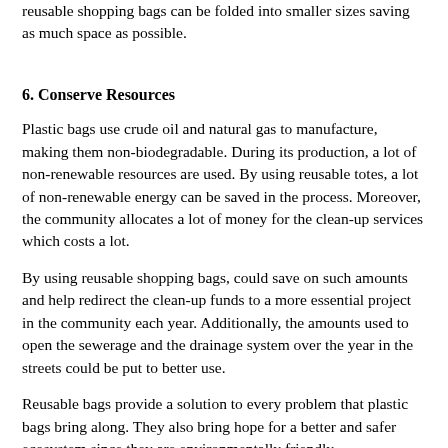reusable shopping bags can be folded into smaller sizes saving as much space as possible.
6. Conserve Resources
Plastic bags use crude oil and natural gas to manufacture, making them non-biodegradable. During its production, a lot of non-renewable resources are used. By using reusable totes, a lot of non-renewable energy can be saved in the process. Moreover, the community allocates a lot of money for the clean-up services which costs a lot.
By using reusable shopping bags, could save on such amounts and help redirect the clean-up funds to a more essential project in the community each year. Additionally, the amounts used to open the sewerage and the drainage system over the year in the streets could be put to better use.
Reusable bags provide a solution to every problem that plastic bags bring along. They also bring hope for a better and safer ecosystem since they are environmentally friendly.
Additionally, reusable shopping bags are good for passing messages and good for your brand. Going reusable would be the best decision since we would be making the planet a better place